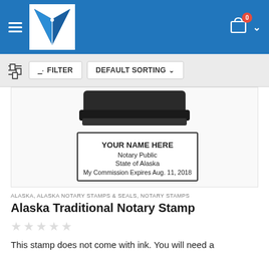[Figure (screenshot): E-commerce website header with blue background, hamburger menu, pen/quill logo in white box, and shopping cart with 0 badge and chevron dropdown]
[Figure (screenshot): Filter bar with sliders icon, FILTER button, and DEFAULT SORTING dropdown]
[Figure (photo): Alaska Traditional Notary Stamp product photo showing a black rubber stamp and a stamp impression reading: YOUR NAME HERE / Notary Public / State of Alaska / My Commission Expires Aug. 11, 2018]
ALASKA, ALASKA NOTARY STAMPS & SEALS, NOTARY STAMPS
Alaska Traditional Notary Stamp
[Figure (other): Five empty star rating icons]
This stamp does not come with ink. You will need a